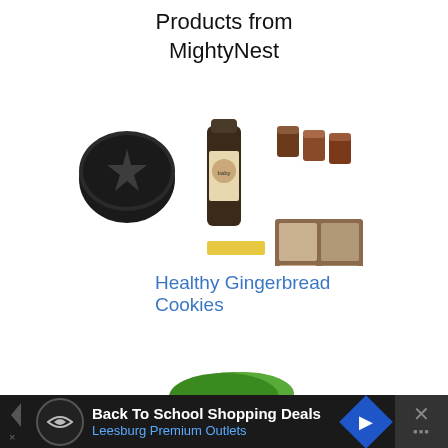Products from MightyNest
[Figure (photo): Collage of product photos from MightyNest including a round tin, a small bottle with a child label, small jars, a rolling pin, a yellow bar, and seed packets]
Healthy Gingerbread Cookies
[Figure (photo): Bowl of healthy burrito bowl with black beans, avocado, corn, tomato, and greens]
Healthy Burrito Bowl (Vegan and Gluten Free)
Back To School Shopping Deals Leesburg Premium Outlets